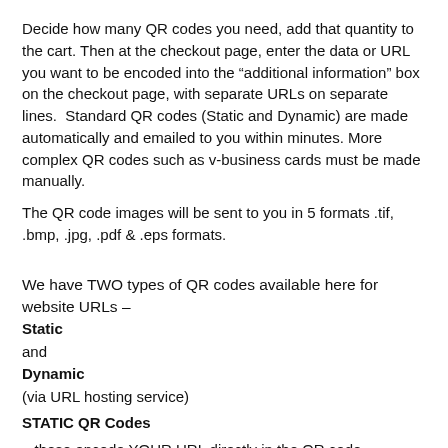Decide how many QR codes you need, add that quantity to the cart. Then at the checkout page, enter the data or URL you want to be encoded into the “additional information” box on the checkout page, with separate URLs on separate lines.  Standard QR codes (Static and Dynamic) are made automatically and emailed to you within minutes. More complex QR codes such as v-business cards must be made manually.
The QR code images will be sent to you in 5 formats .tif, .bmp, .jpg, .pdf & .eps formats.
We have TWO types of QR codes available here for website URLs –
Static
and
Dynamic
(via URL hosting service)
STATIC QR Codes
– these encode YOUR URL directly in the QR code